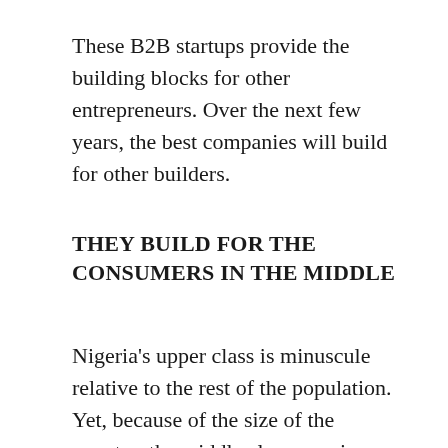These B2B startups provide the building blocks for other entrepreneurs. Over the next few years, the best companies will build for other builders.
THEY BUILD FOR THE CONSUMERS IN THE MIDDLE
Nigeria's upper class is minuscule relative to the rest of the population. Yet, because of the size of the country, the middle class remains a significant market. There's not enough of the upper class to build a big consumer business and the lowest income classes are either too